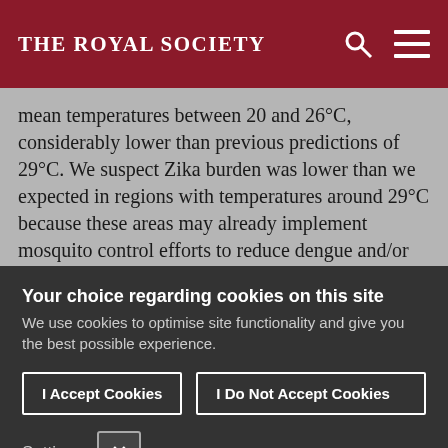THE ROYAL SOCIETY
mean temperatures between 20 and 26°C, considerably lower than previous predictions of 29°C. We suspect Zika burden was lower than we expected in regions with temperatures around 29°C because these areas may already implement mosquito control efforts to reduce dengue and/or people living in these areas may have higher rates of cross-immunity (e.g.
Your choice regarding cookies on this site
We use cookies to optimise site functionality and give you the best possible experience.
I Accept Cookies
I Do Not Accept Cookies
Settings